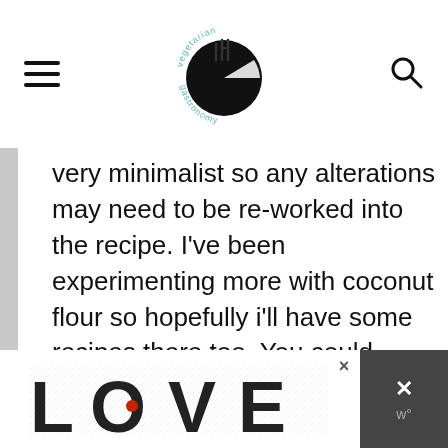vegetarian gastronomy
very minimalist so any alterations may need to be re-worked into the recipe. I've been experimenting more with coconut flour so hopefully i'll have some recipes there too. You could probably try to use all-purpose GF flour from BOB Red Mill. I'd love for you to try out my recipe using GF flour, but I haven't tried it myself
[Figure (other): Advertisement banner at bottom showing 'LOVE' text art with close button and dark right side panel]